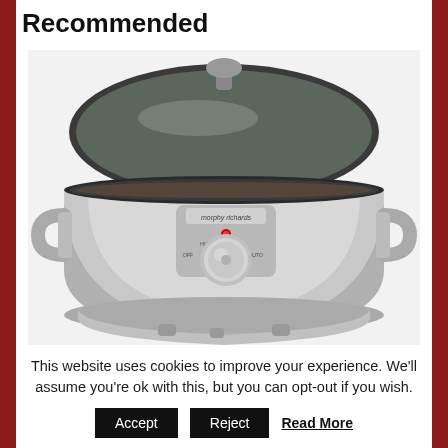Recommended
[Figure (photo): A Morphy Richards stainless steel slow cooker with glass lid, control dial showing OFF, HIGH, LOW, and AUTO settings, and a red indicator light. The appliance has side handles and sits on small feet.]
This website uses cookies to improve your experience. We'll assume you're ok with this, but you can opt-out if you wish.
Accept  Reject  Read More